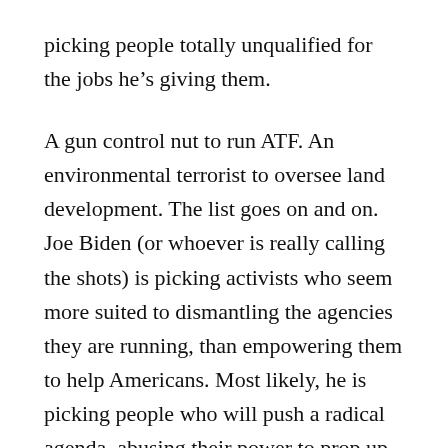picking people totally unqualified for the jobs he's giving them.
A gun control nut to run ATF. An environmental terrorist to oversee land development. The list goes on and on. Joe Biden (or whoever is really calling the shots) is picking activists who seem more suited to dismantling the agencies they are running, than empowering them to help Americans. Most likely, he is picking people who will push a radical agenda, abusing their power to prop up the left.
But more often than not, they are just not good at their jobs. That is painfully true of those who are